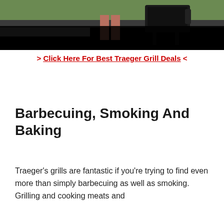[Figure (photo): Partial photo of a Traeger grill outdoors, cropped at top, with dark/black lower portion of image visible]
> Click Here For Best Traeger Grill Deals <
Barbecuing, Smoking And Baking
Traeger's grills are fantastic if you're trying to find even more than simply barbecuing as well as smoking. Grilling and cooking meats and